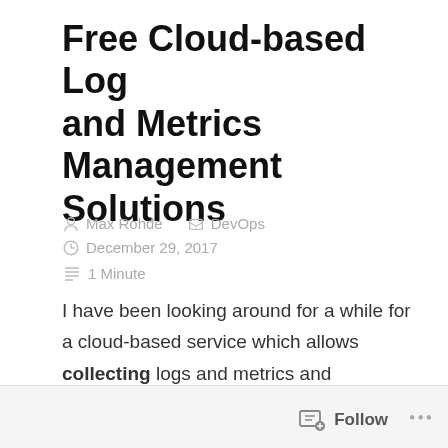Free Cloud-based Log and Metrics Management Solutions
Max Rohde   DevOps   December 29, 2017
1 Minute
I have been looking around for a while for a cloud-based service which allows collecting logs and metrics and analysing them. I am particularly interested in a solution which can be deployed for free for smaller applications/amounts of data.
Follow ...